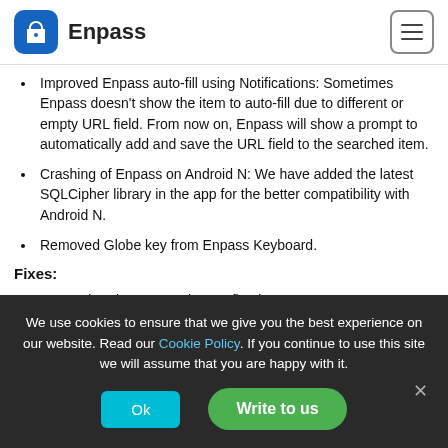Enpass
Improved Enpass auto-fill using Notifications: Sometimes Enpass doesn't show the item to auto-fill due to different or empty URL field. From now on, Enpass will show a prompt to automatically add and save the URL field to the searched item.
Crashing of Enpass on Android N: We have added the latest SQLCipher library in the app for the better compatibility with Android N.
Removed Globe key from Enpass Keyboard.
Fixes:
Box and WebDAV sync issues fixed.
Fixed an issue with TOTP secret key where Enpass doesn't
We use cookies to ensure that we give you the best experience on our website. Read our Cookie Policy. If you continue to use this site we will assume that you are happy with it.